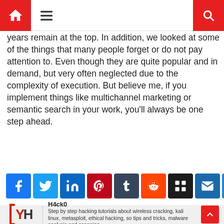Navigation bar with home, menu, and search icons
years remain at the top. In addition, we looked at some of the things that many people forget or do not pay attention to. Even though they are quite popular and in demand, but very often neglected due to the complexity of execution. But believe me, if you implement things like multichannel marketing or semantic search in your work, you'll always be one step ahead.
[Figure (infographic): Social sharing buttons: Facebook, Twitter, LinkedIn, Pinterest, Tumblr, Reddit, Myspace/Friendster, Email, More]
[Figure (logo): H4ck0 logo - red bracket and H letter on white background]
H4ck0
Step by step hacking tutorials about wireless cracking, kali linux, metasploit, ethical hacking, so tips and tricks, malware analysis and scanning.